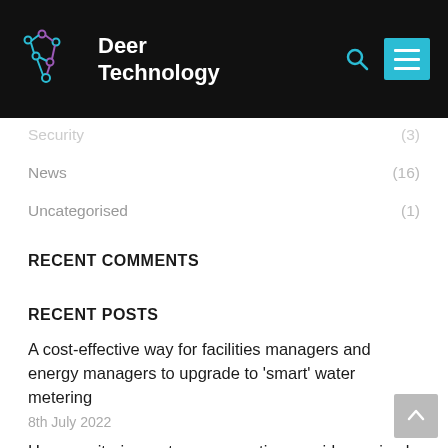Deer Technology
Security (3)
News (16)
Uncategorised (1)
RECENT COMMENTS
RECENT POSTS
A cost-effective way for facilities managers and energy managers to upgrade to ‘smart’ water metering
8th July 2022
How monitoring water consumption provides a simple and cost-effective way to improve ESG ratings